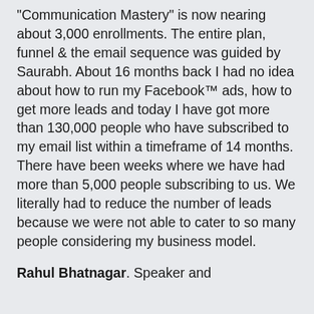"Communication Mastery" is now nearing about 3,000 enrollments. The entire plan, funnel & the email sequence was guided by Saurabh. About 16 months back I had no idea about how to run my Facebook™ ads, how to get more leads and today I have got more than 130,000 people who have subscribed to my email list within a timeframe of 14 months. There have been weeks where we have had more than 5,000 people subscribing to us. We literally had to reduce the number of leads because we were not able to cater to so many people considering my business model.
Rahul Bhatnagar. Speaker and